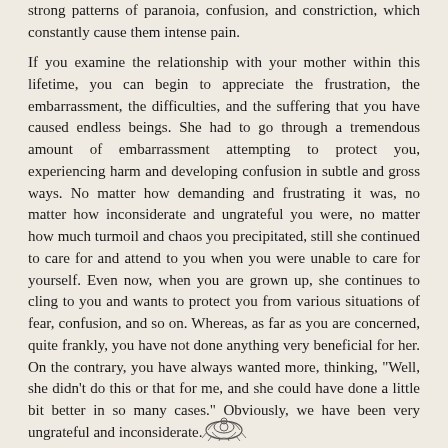strong patterns of paranoia, confusion, and constriction, which constantly cause them intense pain.
If you examine the relationship with your mother within this lifetime, you can begin to appreciate the frustration, the embarrassment, the difficulties, and the suffering that you have caused endless beings. She had to go through a tremendous amount of embarrassment attempting to protect you, experiencing harm and developing confusion in subtle and gross ways. No matter how demanding and frustrating it was, no matter how inconsiderate and ungrateful you were, no matter how much turmoil and chaos you precipitated, still she continued to care for and attend to you when you were unable to care for yourself. Even now, when you are grown up, she continues to cling to you and wants to protect you from various situations of fear, confusion, and so on. Whereas, as far as you are concerned, quite frankly, you have not done anything very beneficial for her. On the contrary, you have always wanted more, thinking, "Well, she didn't do this or that for me, and she could have done a little bit better in so many cases." Obviously, we have been very ungrateful and inconsiderate.
[Figure (illustration): Small decorative ornamental illustration, possibly a turtle or knot design, centered at the bottom of the page]